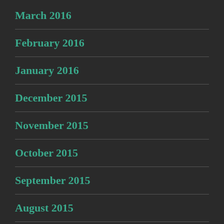March 2016
February 2016
January 2016
December 2015
November 2015
October 2015
September 2015
August 2015